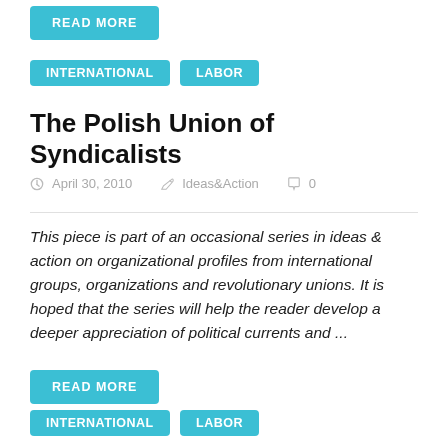READ MORE
International  Labor
The Polish Union of Syndicalists
April 30, 2010   Ideas&Action   0
This piece is part of an occasional series in ideas & action on organizational profiles from international groups, organizations and revolutionary unions. It is hoped that the series will help the reader develop a deeper appreciation of political currents and ...
READ MORE
International  Labor